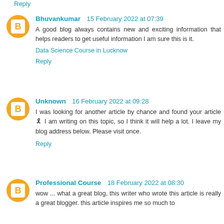Reply
Bhuvankumar  15 February 2022 at 07:39
A good blog always contains new and exciting information that helps readers to get useful information I am sure this is it.
Data Science Course in Lucknow
Reply
Unknown  16 February 2022 at 09:28
I was looking for another article by chance and found your article 🎗 I am writing on this topic, so I think it will help a lot. I leave my blog address below. Please visit once.
Reply
Professional Course  18 February 2022 at 08:30
wow ... what a great blog, this writer who wrote this article is really a great blogger. this article inspires me so much to